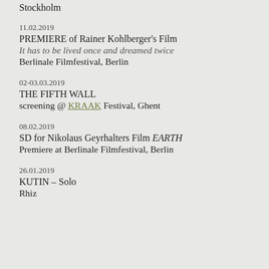Stockholm
11.02.2019
PREMIERE of Rainer Kohlberger's Film
It has to be lived once and dreamed twice
Berlinale Filmfestival, Berlin
02-03.03.2019
THE FIFTH WALL
screening @ KRAAK Festival, Ghent
08.02.2019
SD for Nikolaus Geyrhalters Film EARTH
Premiere at Berlinale Filmfestival, Berlin
26.01.2019
KUTIN – Solo
Rhiz